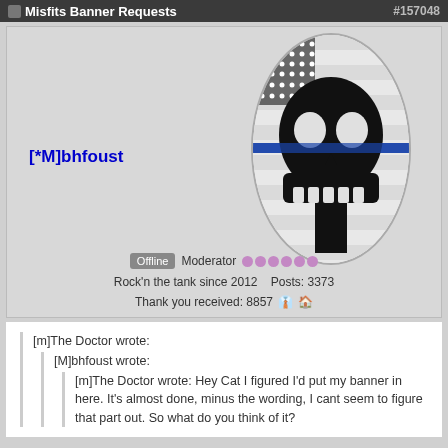Misfits Banner Requests #157048
[Figure (illustration): User profile panel showing username [*M]bhfoust in blue bold text, an oval-shaped avatar containing a stylized Punisher skull with thin blue line American flag overlay, offline/moderator status badges with purple dots, Rock'n the tank since 2012, Posts: 3373, Thank you received: 8857 with emoji icons]
[m]The Doctor wrote:
[M]bhfoust wrote:
[m]The Doctor wrote: Hey Cat I figured I'd put my banner in here. It's almost done, minus the wording, I cant seem to figure that part out. So what do you think of it?